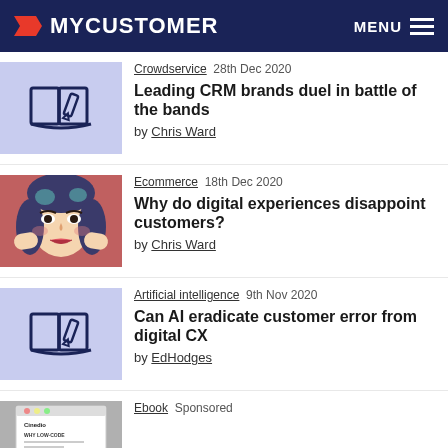MYCUSTOMER   MENU
[Figure (illustration): Blue background thumbnail with book and pencil icon]
Crowdservice  28th Dec 2020
Leading CRM brands duel in battle of the bands
by Chris Ward
[Figure (illustration): Pop art style illustration of a worried woman with hands on face, pink/red background]
Ecommerce  18th Dec 2020
Why do digital experiences disappoint customers?
by Chris Ward
[Figure (illustration): Blue background thumbnail with book and pencil icon]
Artificial intelligence  9th Nov 2020
Can AI eradicate customer error from digital CX
by EdHodges
[Figure (illustration): Partial ebook cover thumbnail - Cinedio Why Low-Code]
Ebook  Sponsored